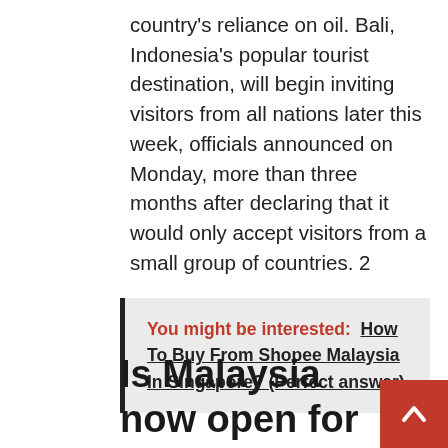country's reliance on oil. Bali, Indonesia's popular tourist destination, will begin inviting visitors from all nations later this week, officials announced on Monday, more than three months after declaring that it would only accept visitors from a small group of countries. 2
You might be interested:  How To Buy From Shopee Malaysia In Singapore? (Perfect answer)
Is Malaysia now open for tourists?